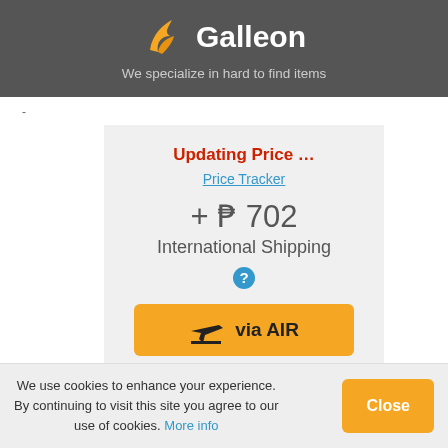Galleon — We specialize in hard to find items
-
Updating Price …
Price Tracker
+ ₱ 702
International Shipping
[Figure (other): Help/info question mark icon (blue circle with white question mark)]
[Figure (other): Orange 'via AIR' button with airplane icon]
This item ships longer than
We use cookies to enhance your experience. By continuing to visit this site you agree to our use of cookies. More info